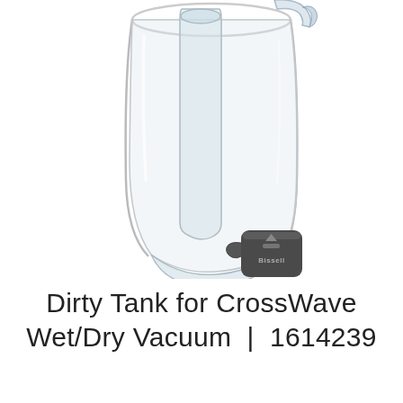[Figure (photo): A transparent plastic dirty water tank for a Bissell CrossWave Wet/Dry Vacuum. The tank is clear/translucent showing the inner chamber. At the bottom front is a dark grey Bissell-branded cap/stopper with the Bissell logo (triangle logo and 'Bissell' text) visible on it. The tank is photographed on a white background.]
Dirty Tank for CrossWave Wet/Dry Vacuum | 1614239